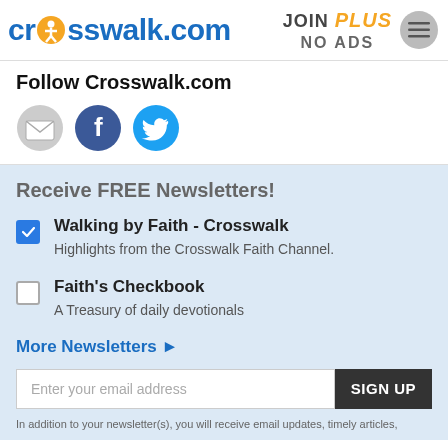crosswalk.com | JOIN PLUS NO ADS
Follow Crosswalk.com
[Figure (illustration): Social media icons: email (envelope), Facebook (f), Twitter (bird)]
Receive FREE Newsletters!
Walking by Faith - Crosswalk — Highlights from the Crosswalk Faith Channel.
Faith's Checkbook — A Treasury of daily devotionals
More Newsletters ▶
Enter your email address SIGN UP
In addition to your newsletter(s), you will receive email updates, timely articles,